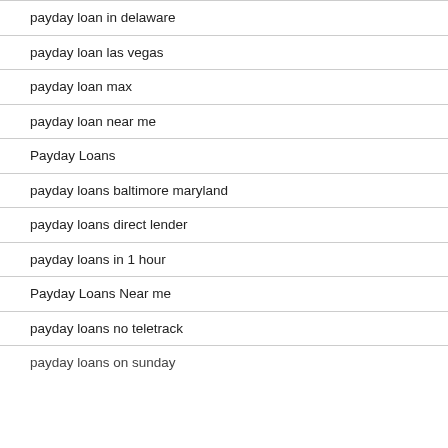payday loan in delaware
payday loan las vegas
payday loan max
payday loan near me
Payday Loans
payday loans baltimore maryland
payday loans direct lender
payday loans in 1 hour
Payday Loans Near me
payday loans no teletrack
payday loans on sunday